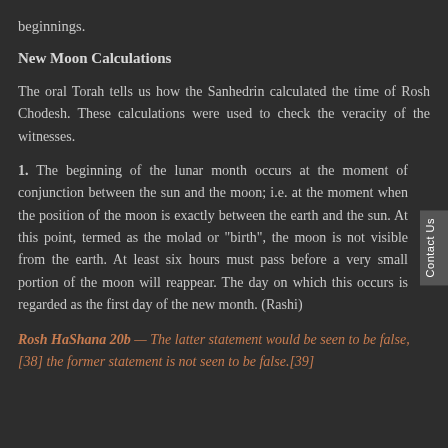beginnings.
New Moon Calculations
The oral Torah tells us how the Sanhedrin calculated the time of Rosh Chodesh. These calculations were used to check the veracity of the witnesses.
1. The beginning of the lunar month occurs at the moment of conjunction between the sun and the moon; i.e. at the moment when the position of the moon is exactly between the earth and the sun. At this point, termed as the molad or "birth", the moon is not visible from the earth. At least six hours must pass before a very small portion of the moon will reappear. The day on which this occurs is regarded as the first day of the new month. (Rashi)
Rosh HaShana 20b — The latter statement would be seen to be false,[38] the former statement is not seen to be false.[39]